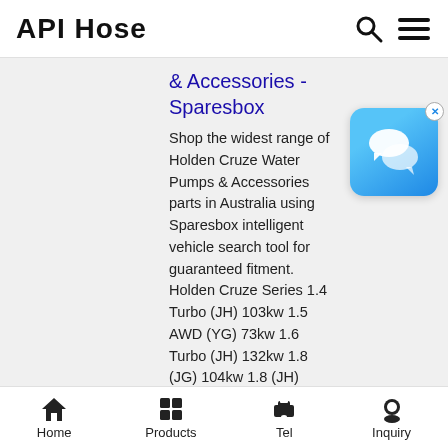API Hose
& Accessories - Sparesbox
Shop the widest range of Holden Cruze Water Pumps & Accessories parts in Australia using Sparesbox intelligent vehicle search tool for guaranteed fitment. Holden Cruze Series 1.4 Turbo (JH) 103kw 1.5 AWD (YG) 73kw 1.6 Turbo (JH) 132kw 1.8 (JG) 104kw 1.8 (JH) 104kw 2.0 DTFi (JG) 110kw 2.0 DTFi (JH) 120kw
How to replace Chevy Cruze Water Outlet Return Hose
14/6/2019· Broken Water Outlet fitting.
Home  Products  Tel  Inquiry